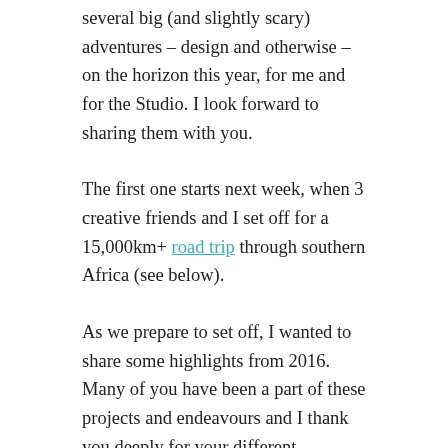several big (and slightly scary) adventures – design and otherwise – on the horizon this year, for me and for the Studio. I look forward to sharing them with you.
The first one starts next week, when 3 creative friends and I set off for a 15,000km+ road trip through southern Africa (see below).
As we prepare to set off, I wanted to share some highlights from 2016. Many of you have been a part of these projects and endeavours and I thank you deeply for your different contributions. Continue reading
January 11, 2017 / BUSINESS, BUY AFRICAN, CREATIVITY / #unscramblingafrica, Africa, African feminism, African